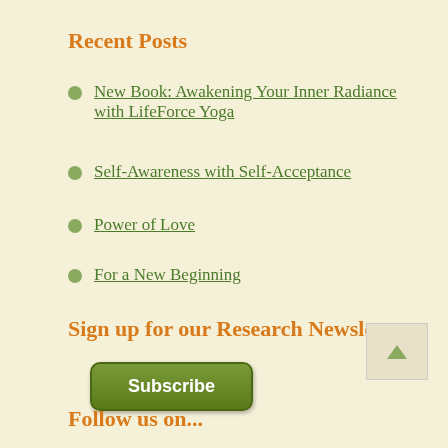Recent Posts
New Book: Awakening Your Inner Radiance with LifeForce Yoga
Self-Awareness with Self-Acceptance
Power of Love
For a New Beginning
Sign up for our Research Newsletter
Subscribe
Follow us on...